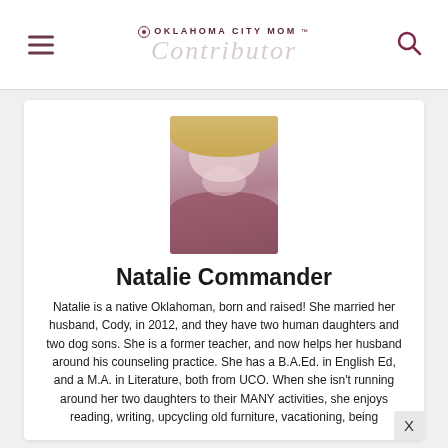OKLAHOMA CITY MOM
[Figure (photo): Portrait photo of Natalie Commander, a blonde woman in a mauve/rose sweater, smiling at camera]
Natalie Commander
Natalie is a native Oklahoman, born and raised! She married her husband, Cody, in 2012, and they have two human daughters and two dog sons. She is a former teacher, and now helps her husband around his counseling practice. She has a B.A.Ed. in English Ed, and a M.A. in Literature, both from UCO. When she isn't running around her two daughters to their MANY activities, she enjoys reading, writing, upcycling old furniture, vacationing, being